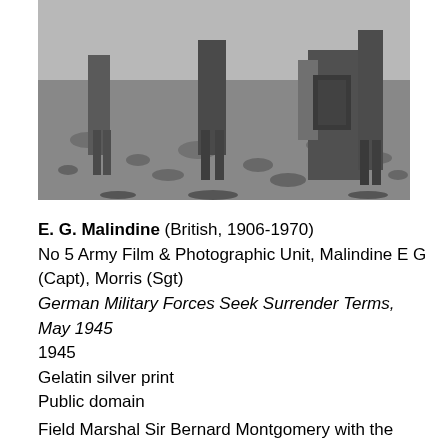[Figure (photo): Black and white photograph showing Field Marshal Sir Bernard Montgomery with German military personnel outdoors on grassy terrain. Figures visible from waist/knee down, wearing military uniforms and carrying bags.]
E. G. Malindine (British, 1906-1970)
No 5 Army Film & Photographic Unit, Malindine E G (Capt), Morris (Sgt)
German Military Forces Seek Surrender Terms, May 1945
1945
Gelatin silver print
Public domain
Field Marshal Sir Bernard Montgomery with the German